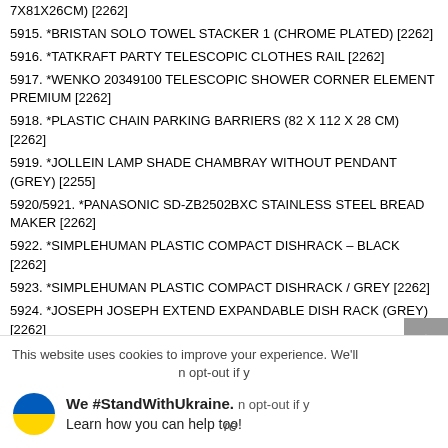7X81X26CM) [2262]
5915. *BRISTAN SOLO TOWEL STACKER 1 (CHROME PLATED) [2262]
5916. *TATKRAFT PARTY TELESCOPIC CLOTHES RAIL [2262]
5917. *WENKO 20349100 TELESCOPIC SHOWER CORNER ELEMENT PREMIUM [2262]
5918. *PLASTIC CHAIN PARKING BARRIERS (82 X 112 X 28 CM) [2262]
5919. *JOLLEIN LAMP SHADE CHAMBRAY WITHOUT PENDANT (GREY) [2255]
5920/5921. *PANASONIC SD-ZB2502BXC STAINLESS STEEL BREAD MAKER [2262]
5922. *SIMPLEHUMAN PLASTIC COMPACT DISHRACK – BLACK [2262]
5923. *SIMPLEHUMAN PLASTIC COMPACT DISHRACK / GREY [2262]
5924. *JOSEPH JOSEPH EXTEND EXPANDABLE DISH RACK (GREY) [2262]
5925. *JOSEPH JOSEPH INDEX 100 CHOPPING BOARDS
5926. *JOSEPH JOSEPH M-CUISINE PORTION POPCORN MAKER (ORANGE & GREY) [2262]
5927. *JOSEPH JOSEPH FOLD FLAT GRATER PLUS (BLACK) [2262]
5928. *JOSEPH JOSEPH TRISCALE (GREEN) [2262]
This website uses cookies to improve your experience. We'll opt-out if you read more
We #StandWithUkraine. Learn how you can help too!